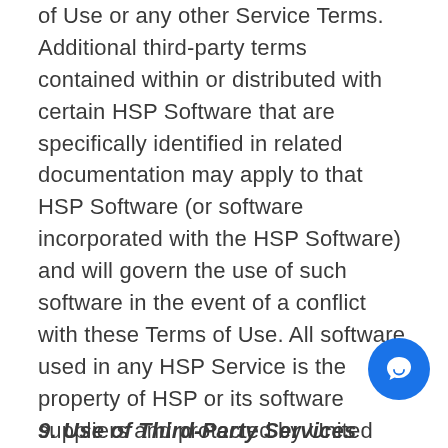of Use or any other Service Terms. Additional third-party terms contained within or distributed with certain HSP Software that are specifically identified in related documentation may apply to that HSP Software (or software incorporated with the HSP Software) and will govern the use of such software in the event of a conflict with these Terms of Use. All software used in any HSP Service is the property of HSP or its software suppliers and protected by United States and international copyright laws.
9. Use of Third-Party Services